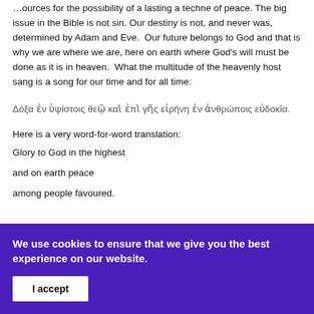…ources for the possibility of a lasting a techne of peace. The big issue in the Bible is not sin. Our destiny is not, and never was, determined by Adam and Eve. Our future belongs to God and that is why we are where we are, here on earth where God's will must be done as it is in heaven. What the multitude of the heavenly host sang is a song for our time and for all time:
Δόξα ἐν ὑψίστοις θεῷ καὶ ἐπὶ γῆς εἰρήνη ἐν ἀνθρώποις εὐδοκία.
Here is a very word-for-word translation:
Glory to God in the highest
and on earth peace
among people favoured.
We use cookies to ensure that we give you the best experience on our website.
I accept